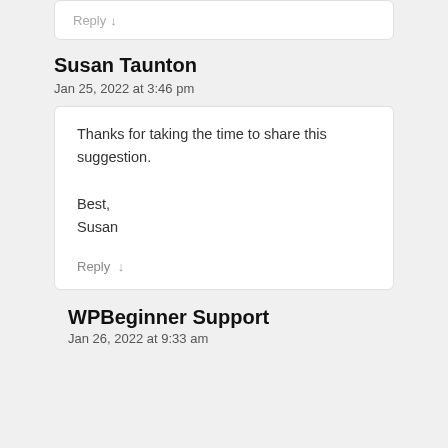Reply ↓
Susan Taunton
Jan 25, 2022 at 3:46 pm
Thanks for taking the time to share this suggestion.
Best,
Susan
Reply ↓
WPBeginner Support
Jan 26, 2022 at 9:33 am